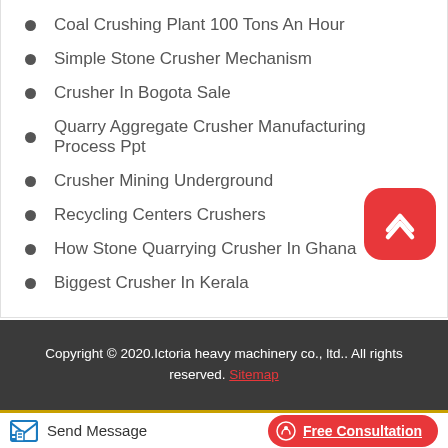Coal Crushing Plant 100 Tons An Hour
Simple Stone Crusher Mechanism
Crusher In Bogota Sale
Quarry Aggregate Crusher Manufacturing Process Ppt
Crusher Mining Underground
Recycling Centers Crushers
How Stone Quarrying Crusher In Ghana
Biggest Crusher In Kerala
Copyright © 2020.Ictoria heavy machinery co., ltd.. All rights reserved. Sitemap